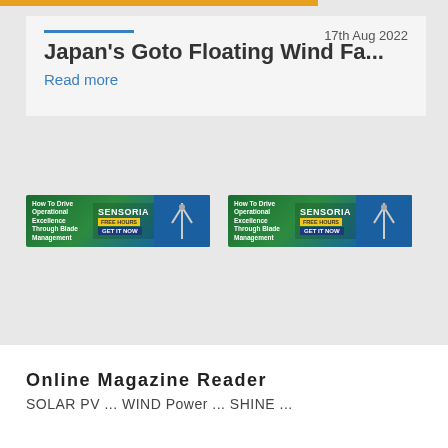17th Aug 2022
Japan's Goto Floating Wind Fa...
Read more
[Figure (illustration): SENSORIA advertisement banner: How To Drive Operational Excellence Through Blade Management - FREE HOURS - GET IT NOW]
[Figure (illustration): SENSORIA advertisement banner: How To Drive Operational Excellence Through Blade Management - FREE HOURS - GET IT NOW]
Online Magazine Reader
SOLAR PV ... WIND Power ... SHINE ...